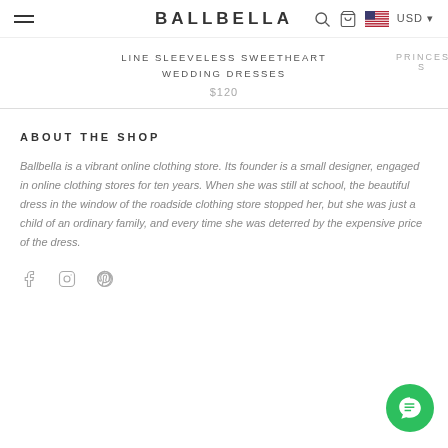BALLBELLA  USD
LINE SLEEVELESS SWEETHEART WEDDING DRESSES
$120
ABOUT THE SHOP
Ballbella is a vibrant online clothing store. Its founder is a small designer, engaged in online clothing stores for ten years. When she was still at school, the beautiful dress in the window of the roadside clothing store stopped her, but she was just a child of an ordinary family, and every time she was deterred by the expensive price of the dress.